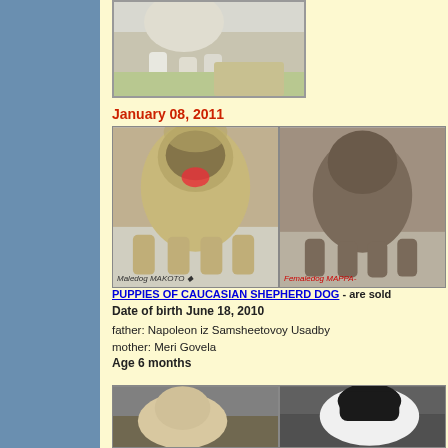[Figure (photo): Partial photo of a dog at the top of the page, showing lower body/legs]
January 08, 2011
[Figure (photo): Two Caucasian Shepherd Dog puppies side by side. Left labeled 'Maledog MAKOTO', right labeled 'Femaledog MAPFA'. Fluffy tan/brown puppies.]
PUPPIES OF CAUCASIAN SHEPHERD DOG - are sold
Date of birth June 18, 2010
father: Napoleon iz Samsheetovoy Usadby
mother: Meri Govela
Age 6 months
[Figure (photo): Two more puppies shown at bottom of page, one lighter colored on left, one black and white on right]